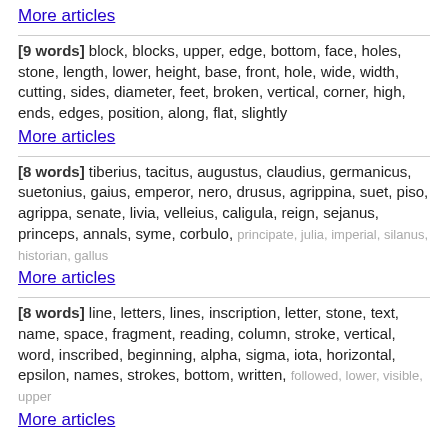More articles
[9 words] block, blocks, upper, edge, bottom, face, holes, stone, length, lower, height, base, front, hole, wide, width, cutting, sides, diameter, feet, broken, vertical, corner, high, ends, edges, position, along, flat, slightly
More articles
[8 words] tiberius, tacitus, augustus, claudius, germanicus, suetonius, gaius, emperor, nero, drusus, agrippina, suet, piso, agrippa, senate, livia, velleius, caligula, reign, sejanus, princeps, annals, syme, corbulo, principate, julia, imperial, silanus, historian, gallus
More articles
[8 words] line, letters, lines, inscription, letter, stone, text, name, space, fragment, reading, column, stroke, vertical, word, inscribed, beginning, alpha, sigma, iota, horizontal, epsilon, names, strokes, bottom, written, followed, lower, visible, upper
More articles